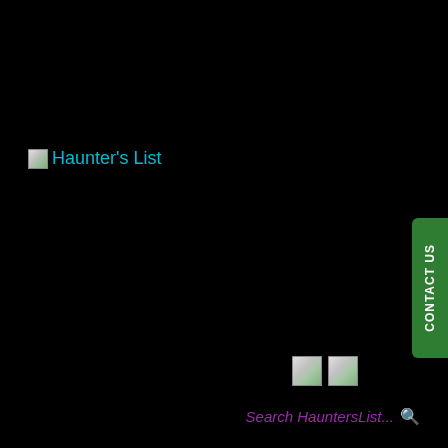[Figure (logo): Haunter's List logo with broken image icon and cyan text]
[Figure (other): Green CONTACT US vertical button on right edge]
[Figure (other): Two small broken image icons near bottom right]
Search HauntersList...